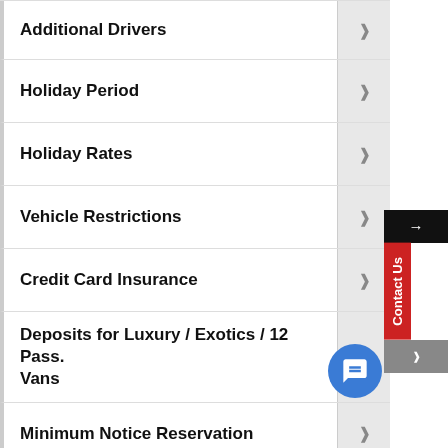Additional Drivers
Holiday Period
Holiday Rates
Vehicle Restrictions
Credit Card Insurance
Deposits for Luxury / Exotics / 12 Pass. Vans
Minimum Notice Reservation
Drop Off & Pick Up Service
Driving Area Restrictions